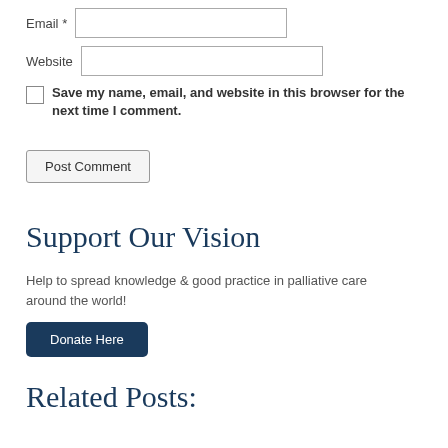Email *
Website
Save my name, email, and website in this browser for the next time I comment.
Post Comment
Support Our Vision
Help to spread knowledge & good practice in palliative care around the world!
Donate Here
Related Posts: